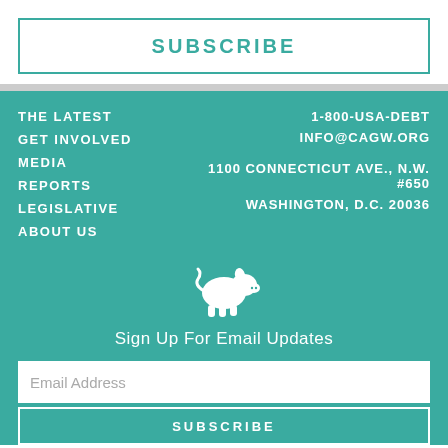SUBSCRIBE
THE LATEST
GET INVOLVED
MEDIA
REPORTS
LEGISLATIVE
ABOUT US
1-800-USA-DEBT
INFO@CAGW.ORG
1100 CONNECTICUT AVE., N.W. #650
WASHINGTON, D.C. 20036
[Figure (illustration): White pig silhouette icon]
Sign Up For Email Updates
Email Address
SUBSCRIBE